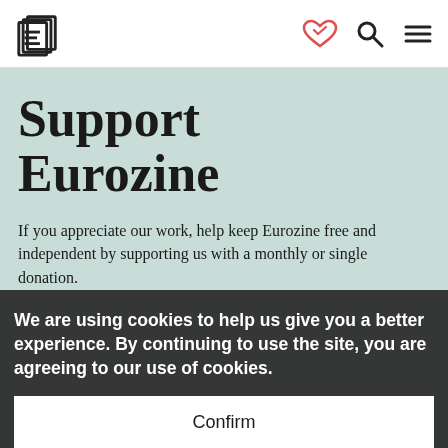Eurozine header with logo and navigation icons
Support Eurozine
If you appreciate our work, help keep Eurozine free and independent by supporting us with a monthly or single donation.
Monthly Donation
We are using cookies to help us give you a better experience. By continuing to use the site, you are agreeing to our use of cookies.
Confirm